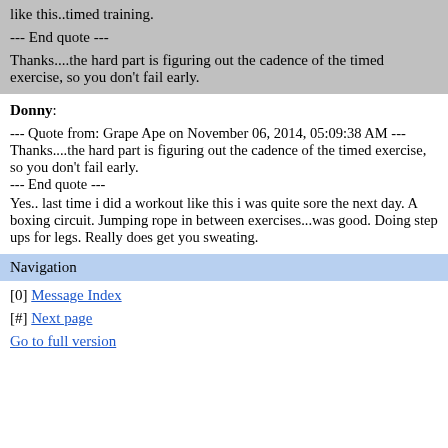like this..timed training.
--- End quote ---
Thanks....the hard part is figuring out the cadence of the timed exercise, so you don't fail early.
Donny:
--- Quote from: Grape Ape on November 06, 2014, 05:09:38 AM ---Thanks....the hard part is figuring out the cadence of the timed exercise, so you don't fail early.
--- End quote ---
Yes.. last time i did a workout like this i was quite sore the next day. A boxing circuit. Jumping rope in between exercises...was good. Doing step ups for legs. Really does get you sweating.
Navigation
[0] Message Index
[#] Next page
Go to full version